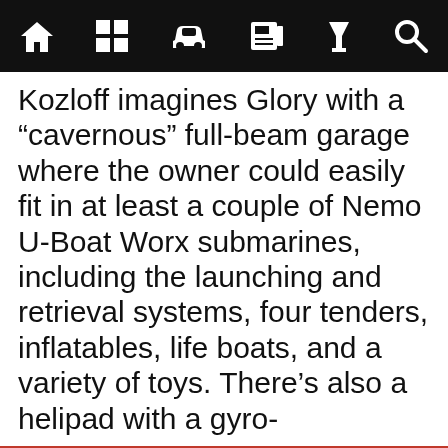Navigation bar with home, grid, car, news, filter, search icons
Kozloff imagines Glory with a “cavernous” full-beam garage where the owner could easily fit in at least a couple of Nemo U-Boat Worx submarines, including the launching and retrieval systems, four tenders, inflatables, life boats, and a variety of toys. There’s also a helipad with a gyro-
We use cookies to improve your experience. By using the site you agree to the use of cookies. For more information and options regarding cookies and personal data see our Cookies Policy and Privacy Policy
Accept cookies & close
California residents: Do Not Sell My Info